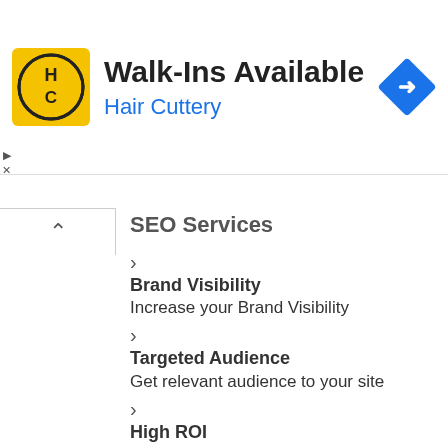[Figure (logo): Hair Cuttery ad banner with yellow HC logo, title 'Walk-Ins Available', subtitle 'Hair Cuttery', and blue diamond arrow icon]
SEO Services
Brand Visibility
Increase your Brand Visibility
Targeted Audience
Get relevant audience to your site
High ROI
Get high ROI with less spending
Global Reach
Increase your business globally
High Reach
93% of the users start on Search engines
Targeted Audience
More than 75% users like Organic Results